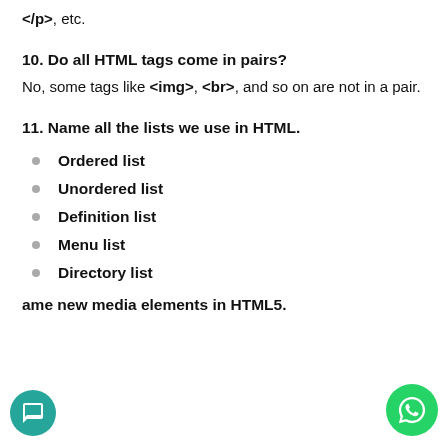</p>, etc.
10. Do all HTML tags come in pairs?
No, some tags like <img>, <br>, and so on are not in a pair.
11. Name all the lists we use in HTML.
Ordered list
Unordered list
Definition list
Menu list
Directory list
Name new media elements in HTML5.